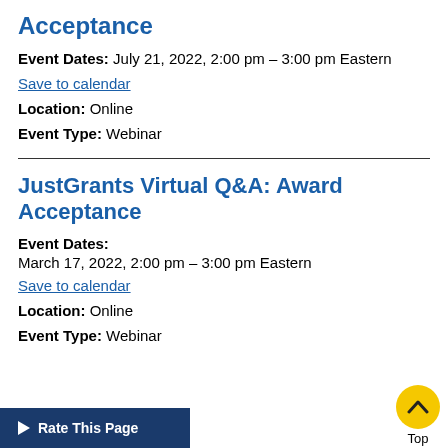Acceptance
Event Dates: July 21, 2022, 2:00 pm – 3:00 pm Eastern
Save to calendar
Location: Online
Event Type: Webinar
JustGrants Virtual Q&A: Award Acceptance
Event Dates:
March 17, 2022, 2:00 pm – 3:00 pm Eastern
Save to calendar
Location: Online
Event Type: Webinar
Rate This Page
Top